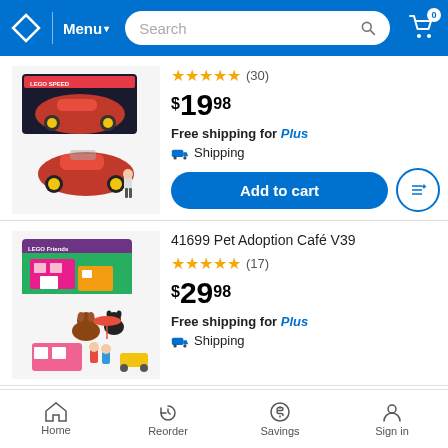Walmart app header with Menu, Search, and Cart (0 items)
[Figure (photo): LEGO Speed Champions red racing car set with minifigure]
★★★★★ (30) $19.98 Free shipping for Plus Shipping
Add to cart
41699 Pet Adoption Café V39
[Figure (photo): LEGO Friends Pet Adoption Café building set with animals and minifigures]
★★★★★ (17) $29.98 Free shipping for Plus Shipping
Home | Reorder | Savings | Sign in